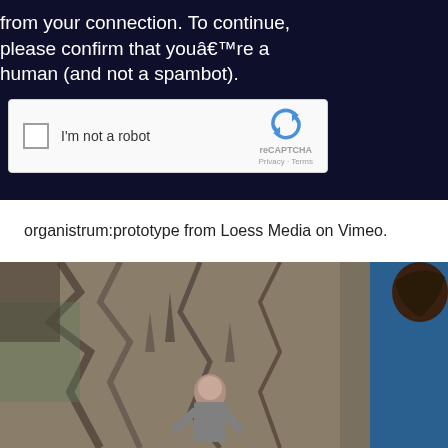from your connection. To continue, please confirm that youâ€™re a human (and not a spambot).
[Figure (screenshot): reCAPTCHA widget with checkbox labeled 'I'm not a robot' and the reCAPTCHA logo with Privacy and Terms links]
organistrum:prototype from Loess Media on Vimeo.
[Figure (photo): A person crouching near a rocky cave wall, with another person visible on the right edge wearing a blue jacket]